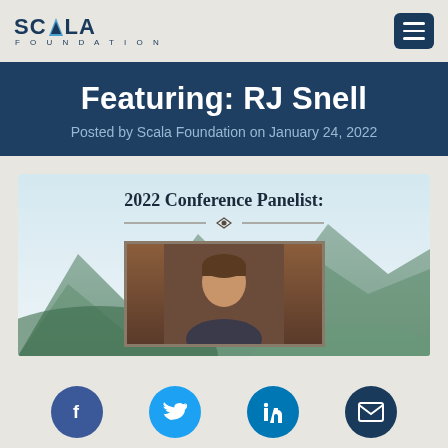SCALA FOUNDATION
Featuring: RJ Snell
Posted by Scala Foundation on January 24, 2022
[Figure (photo): 2022 Conference Panelist card with mountain landscape background and portrait photo of RJ Snell with decorative divider]
Social share icons: Facebook, Twitter, LinkedIn, Email